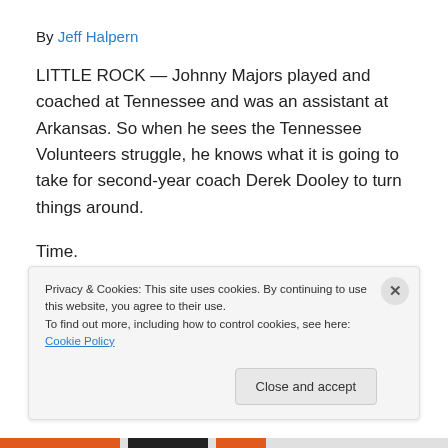By Jeff Halpern
LITTLE ROCK — Johnny Majors played and coached at Tennessee and was an assistant at Arkansas. So when he sees the Tennessee Volunteers struggle, he knows what it is going to take for second-year coach Derek Dooley to turn things around.
Time.
Majors, 76, is retired and living in Knoxville, Tenn., and he
Privacy & Cookies: This site uses cookies. By continuing to use this website, you agree to their use.
To find out more, including how to control cookies, see here: Cookie Policy
Close and accept